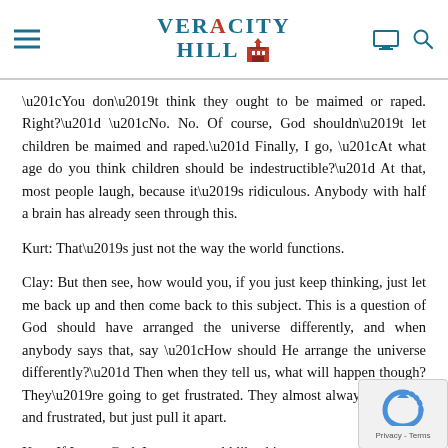Veracity Hill
“You don’t think they ought to be maimed or raped. Right?” “No. No. Of course, God shouldn’t let children be maimed and raped.” Finally, I go, “At what age do you think children should be indestructible?” At that, most people laugh, because it’s ridiculous. Anybody with half a brain has already seen through this.
Kurt: That’s just not the way the world functions.
Clay: But then see, how would you, if you just keep thinking, just let me back up and then come back to this subject. This is a question of God should have arranged the universe differently, and when anybody says that, say “How should He arrange the universe differently?” Then when they tell us, what will happen though? They’re going to get frustrated. They almost always get angry and frustrated, but just pull it apart.
Kurt: If I were God, I create a world like this.